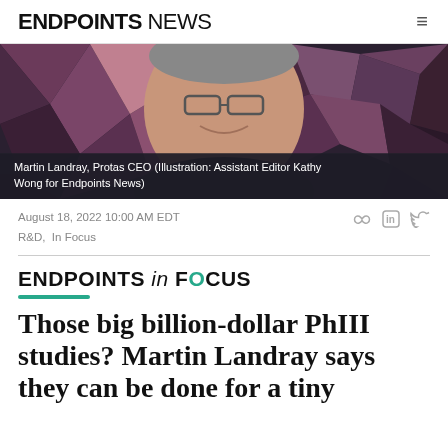ENDPOINTS NEWS
[Figure (illustration): Illustrated portrait of Martin Landray, Protas CEO, against a dark geometric polygon background in shades of purple, grey and maroon. The illustration shows a smiling man with glasses.]
Martin Landray, Protas CEO (Illustration: Assistant Editor Kathy Wong for Endpoints News)
August 18, 2022 10:00 AM EDT
R&D,  In Focus
[Figure (logo): ENDPOINTS in FOCUS brand logo with teal accent bar]
Those big billion-dollar PhIII studies? Martin Landray says they can be done for a tiny